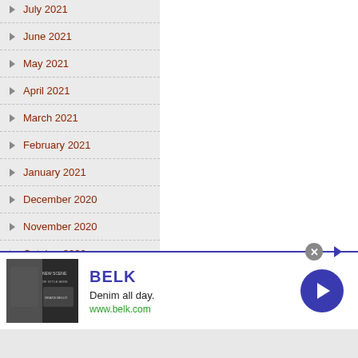June 2021
May 2021
April 2021
March 2021
February 2021
January 2021
December 2020
November 2020
October 2020
September 2020
August 2020
July 2020
[Figure (screenshot): Advertisement banner for BELK: 'Denim all day. www.belk.com' with fashion image on left and blue circular next button on right]